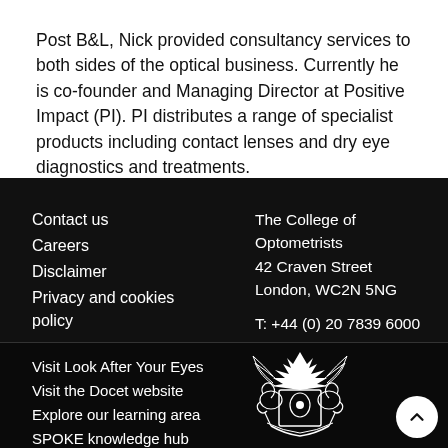Post B&L, Nick provided consultancy services to both sides of the optical business. Currently he is co-founder and Managing Director at Positive Impact (PI). PI distributes a range of specialist products including contact lenses and dry eye diagnostics and treatments.
Contact us
Careers
Disclaimer
Privacy and cookies policy
The College of Optometrists
42 Craven Street
London, WC2N 5NG

T: +44 (0) 20 7839 6000
Visit Look After Your Eyes
Visit the Docet website
Explore our learning area
SPOKE knowledge hub
[Figure (logo): The College of Optometrists heraldic crest/coat of arms in white on black background]